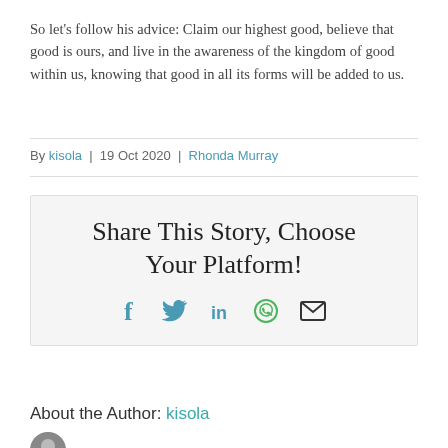So let's follow his advice:  Claim our highest good, believe that good is ours, and live in the awareness of the kingdom of good within us, knowing that good in all its forms will be added to us.
By kisola | 19 Oct 2020 | Rhonda Murray
Share This Story, Choose Your Platform!
[Figure (infographic): Social share icons: Facebook (f), Twitter bird, LinkedIn (in), WhatsApp (circle with phone), Email (envelope)]
About the Author: kisola